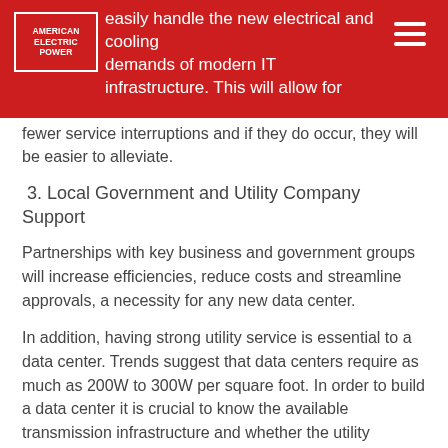American Electric Power
easily handle the new electrical and cooling demands of modern IT infrastructure. This will allow for fewer service interruptions and if they do occur, they will be easier to alleviate.
3. Local Government and Utility Company Support
Partnerships with key business and government groups will increase efficiencies, reduce costs and streamline approvals, a necessity for any new data center.
In addition, having strong utility service is essential to a data center. Trends suggest that data centers require as much as 200W to 300W per square foot. In order to build a data center it is crucial to know the available transmission infrastructure and whether the utility company is willing to upgrade when necessary.
For example, AEP provides comprehensive and complimentary economic and business development